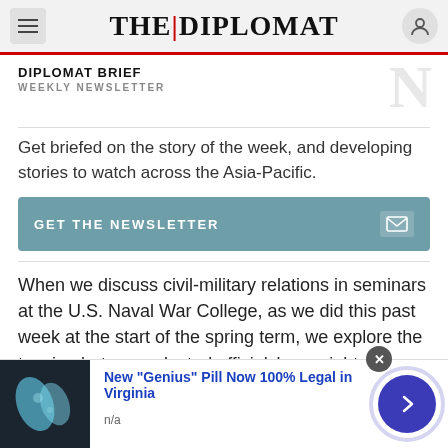THE DIPLOMAT
DIPLOMAT BRIEF
WEEKLY NEWSLETTER
Get briefed on the story of the week, and developing stories to watch across the Asia-Pacific.
GET THE NEWSLETTER
When we discuss civil-military relations in seminars at the U.S. Naval War College, as we did this past week at the start of the spring term, we explore the tension between elected officials' oversight of
New "Genius" Pill Now 100% Legal in Virginia
n/a